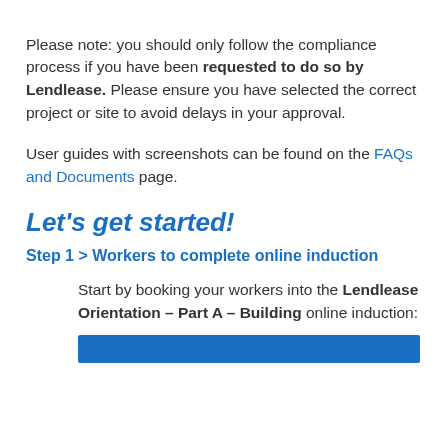Please note: you should only follow the compliance process if you have been requested to do so by Lendlease. Please ensure you have selected the correct project or site to avoid delays in your approval.
User guides with screenshots can be found on the FAQs and Documents page.
Let's get started!
Step 1 > Workers to complete online induction
Start by booking your workers into the Lendlease Orientation – Part A – Building online induction:
[Figure (other): Blue rectangle bar at bottom of page]